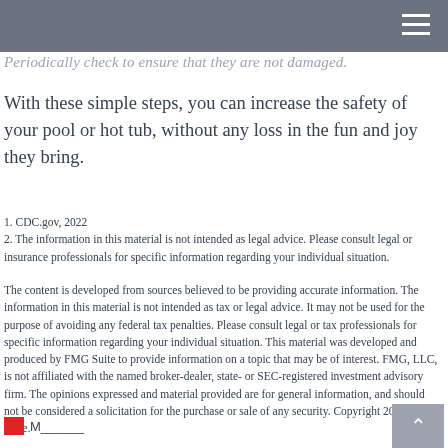Periodically check to ensure that they are not damaged.
With these simple steps, you can increase the safety of your pool or hot tub, without any loss in the fun and joy they bring.
1. CDC.gov, 2022
2. The information in this material is not intended as legal advice. Please consult legal or insurance professionals for specific information regarding your individual situation.
The content is developed from sources believed to be providing accurate information. The information in this material is not intended as tax or legal advice. It may not be used for the purpose of avoiding any federal tax penalties. Please consult legal or tax professionals for specific information regarding your individual situation. This material was developed and produced by FMG Suite to provide information on a topic that may be of interest. FMG, LLC, is not affiliated with the named broker-dealer, state- or SEC-registered investment advisory firm. The opinions expressed and material provided are for general information, and should not be considered a solicitation for the purchase or sale of any security. Copyright 2022 FMG Suite.